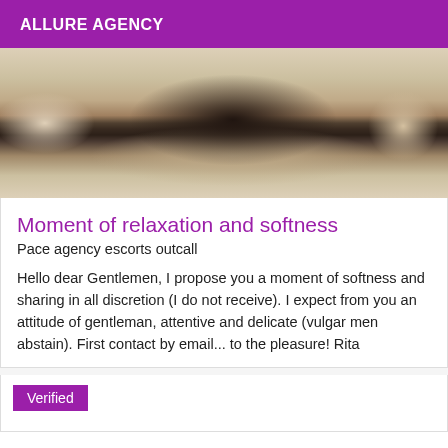ALLURE AGENCY
[Figure (photo): Cropped photo showing person wearing dark lace underwear, beige/tan background]
Moment of relaxation and softness
Pace agency escorts outcall
Hello dear Gentlemen, I propose you a moment of softness and sharing in all discretion (I do not receive). I expect from you an attitude of gentleman, attentive and delicate (vulgar men abstain). First contact by email... to the pleasure! Rita
Verified